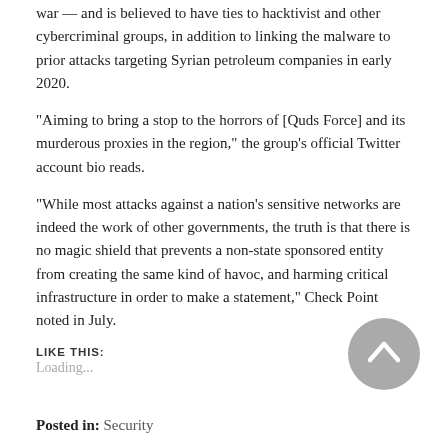war — and is believed to have ties to hacktivist and other cybercriminal groups, in addition to linking the malware to prior attacks targeting Syrian petroleum companies in early 2020.
“Aiming to bring a stop to the horrors of [Quds Force] and its murderous proxies in the region,” the group’s official Twitter account bio reads.
“While most attacks against a nation’s sensitive networks are indeed the work of other governments, the truth is that there is no magic shield that prevents a non-state sponsored entity from creating the same kind of havoc, and harming critical infrastructure in order to make a statement,” Check Point noted in July.
LIKE THIS:
Loading...
Posted in: Security